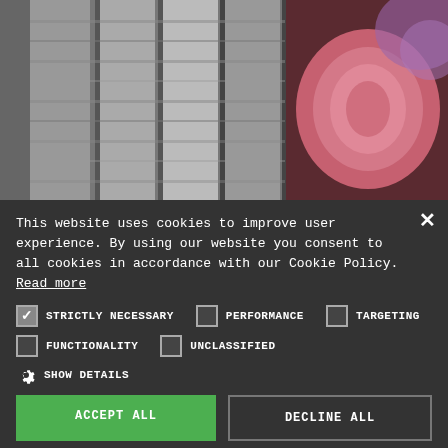[Figure (photo): Medical imaging scan / endoscopy image showing grayscale MRI-like structures on the left and a pinkish-red circular tissue image on the right]
This website uses cookies to improve user experience. By using our website you consent to all cookies in accordance with our Cookie Policy. Read more
STRICTLY NECESSARY (checked), PERFORMANCE (unchecked), TARGETING (unchecked)
FUNCTIONALITY (unchecked), UNCLASSIFIED (unchecked)
SHOW DETAILS
ACCEPT ALL
DECLINE ALL